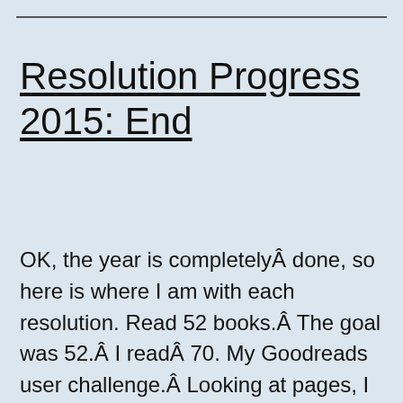Resolution Progress 2015: End
OK, the year is completelyÂ done, so here is where I am with each resolution. Read 52 books.Â The goal was 52.Â I readÂ 70. My Goodreads user challenge.Â Looking at pages, I managed to readÂ 19,669 compared to an average ofÂ 21,815 for the prior four years. So while the number of books is good, they were